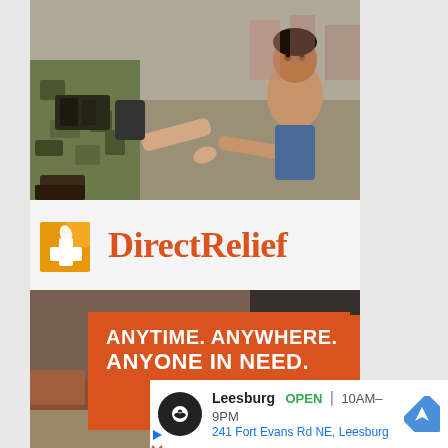[Figure (photo): A relief worker in camouflage pants holding the hand of a young child, photographed outdoors on a dusty/sandy surface.]
[Figure (logo): Direct Relief logo: orange square icon with white medical cross/leaf symbol, followed by 'Direct Relief' text in orange serif font on white/light gray background.]
[Figure (photo): People's feet/legs in outdoor setting with orange banner overlay reading 'ANYTIME. ANYWHERE. ANYONE IN NEED.']
[Figure (infographic): Google Maps-style local business ad showing a Leesburg store location: circular dark icon, store name 'Leesburg', green 'OPEN', hours '10AM-9PM', address '241 Fort Evans Rd NE, Leesburg', and blue navigation arrow icon.]